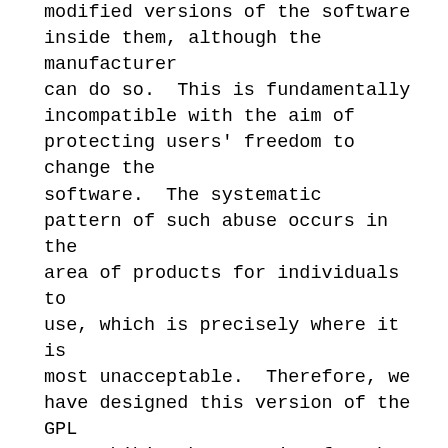modified versions of the software inside them, although the manufacturer can do so.  This is fundamentally incompatible with the aim of protecting users' freedom to change the software.  The systematic pattern of such abuse occurs in the area of products for individuals to use, which is precisely where it is most unacceptable.  Therefore, we have designed this version of the GPL to prohibit the practice for those products.  If such problems arise substantially in other domains, we stand ready to extend this provision to those domains in future versions of the GPL, as needed to protect the freedom of users.